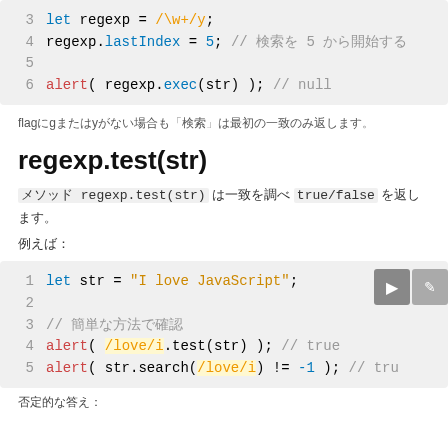[Figure (screenshot): Code block snippet showing lines 3-6 of JavaScript: let regexp = /\w+/y; regexp.lastIndex = 5; alert(regexp.exec(str)); // null]
正規表現のflagにgまたはyがない場合、"検索"は最初の一致のみ返します。
regexp.test(str)
メソッド regexp.test(str) は一致を調べて true/false を返します。
例えば：
[Figure (screenshot): Code block showing: let str = 'I love JavaScript'; alert(/love/i.test(str)); // true; alert(str.search(/love/i) != -1); // true]
否定的な答え：